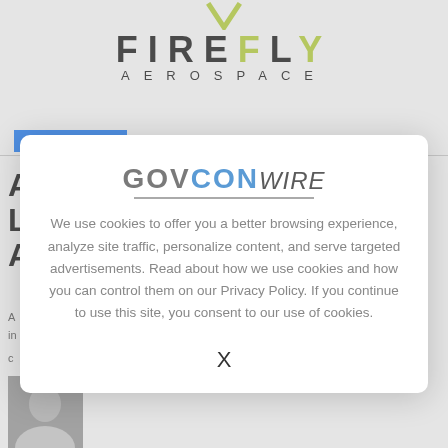[Figure (logo): Firefly Aerospace logo with green V chevron and stylized text]
M&A ACTIVITY
[Figure (screenshot): GovConWire cookie consent modal overlay with text about cookies and privacy policy, with X close button]